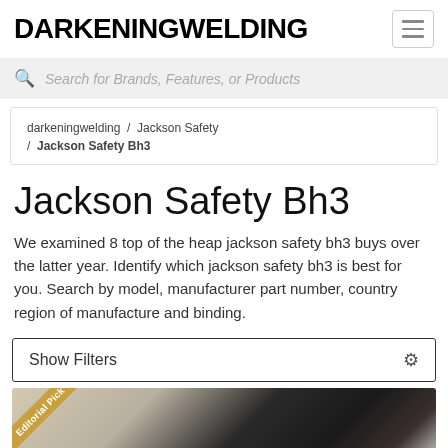DARKENINGWELDING
Search for Brands, Features, or Products
darkeningwelding / Jackson Safety / Jackson Safety Bh3
Jackson Safety Bh3
We examined 8 top of the heap jackson safety bh3 buys over the latter year. Identify which jackson safety bh3 is best for you. Search by model, manufacturer part number, country region of manufacture and binding.
Show Filters
[Figure (photo): Welding helmet product photo with Editorial Pick ribbon badge in top-left corner]